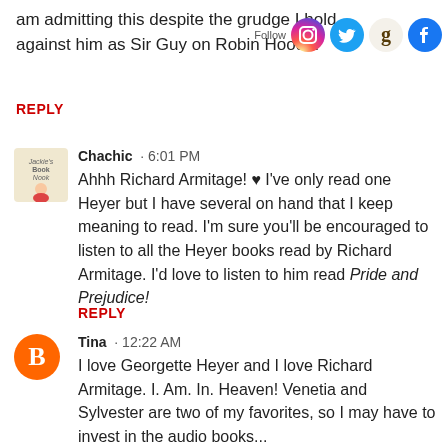am admitting this despite the grudge I hold against him as Sir Guy on Robin Hood...
REPLY
[Figure (illustration): Jackie's Book Nook avatar - cartoon illustration of a girl reading]
Chachic · 6:01 PM
Ahhh Richard Armitage! ♥ I've only read one Heyer but I have several on hand that I keep meaning to read. I'm sure you'll be encouraged to listen to all the Heyer books read by Richard Armitage. I'd love to listen to him read Pride and Prejudice!
REPLY
[Figure (logo): Blogger B logo - orange circle with white B letter]
Tina · 12:22 AM
I love Georgette Heyer and I love Richard Armitage. I. Am. In. Heaven! Venetia and Sylvester are two of my favorites, so I may have to invest in the audio books...